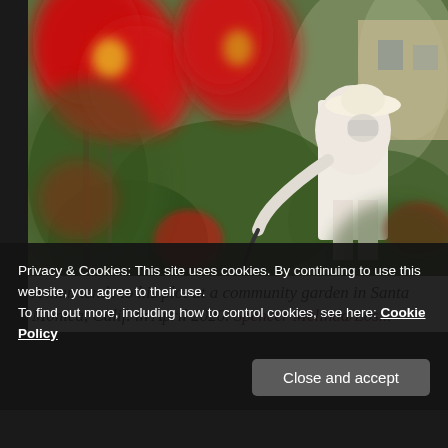[Figure (photo): A man in a wide-brimmed hat and white clothing tends to his plot at a community garden, surrounded by blurred red flowers in the foreground and lush green plants, watering with a hose.]
A man tends to his plot at a community garden in Santa Monica, Calif. in April 2020. Spencer Melinda/Los...
Privacy & Cookies: This site uses cookies. By continuing to use this website, you agree to their use.
To find out more, including how to control cookies, see here: Cookie Policy
Close and accept